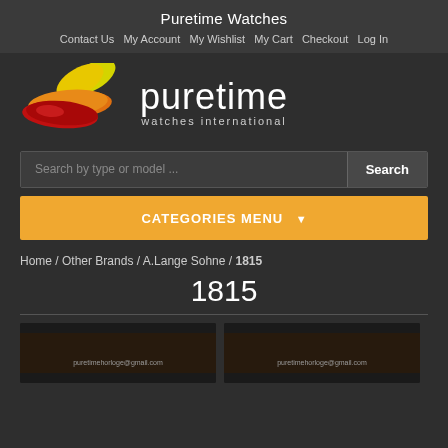Puretime Watches
Contact Us  My Account  My Wishlist  My Cart  Checkout  Log In
[Figure (logo): Puretime watches international logo with red/orange/yellow abstract shapes and white text]
Search by type or model ...
CATEGORIES MENU
Home / Other Brands / A.Lange Sohne / 1815
1815
[Figure (photo): Watch product thumbnail with watermark puretimehorloge@gmail.com]
[Figure (photo): Watch product thumbnail with watermark puretimehorloge@gmail.com]